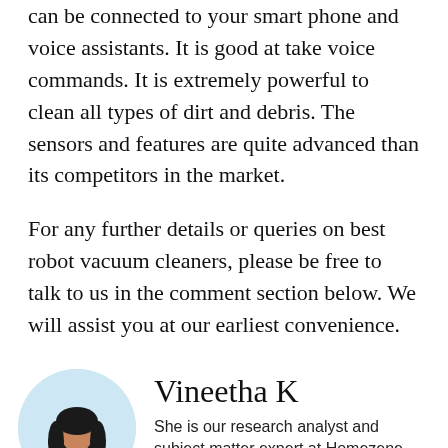can be connected to your smart phone and voice assistants. It is good at take voice commands. It is extremely powerful to clean all types of dirt and debris. The sensors and features are quite advanced than its competitors in the market.
For any further details or queries on best robot vacuum cleaners, please be free to talk to us in the comment section below. We will assist you at our earliest convenience.
[Figure (photo): Circular profile photo of Vineetha K, a woman in a teal outfit with long dark hair, against a light blue circular background.]
Vineetha K
She is our research analyst and subject matter expert at Homezene. Her passion for research has